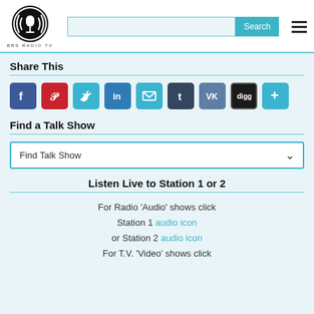BBS RADIO TV
Share This
[Figure (infographic): Social share buttons: Facebook, Pinterest, Twitter, LinkedIn, Email, Tumblr, VK, Digg, More (+)]
Find a Talk Show
Find Talk Show (dropdown)
Listen Live to Station 1 or 2
For Radio 'Audio' shows click Station 1 audio icon or Station 2 audio icon For T.V. 'Video' shows click